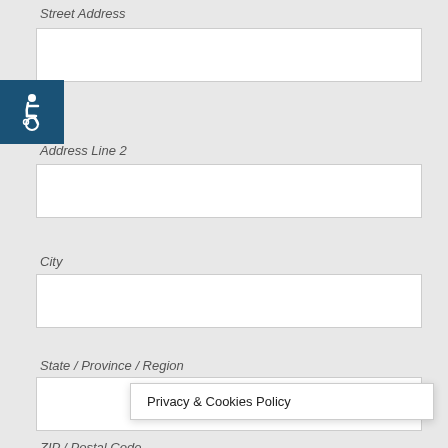Street Address
[Figure (other): Wheelchair accessibility icon — white person in wheelchair symbol on dark blue square background]
Address Line 2
City
State / Province / Region
ZIP / Postal Code
Privacy & Cookies Policy
Country